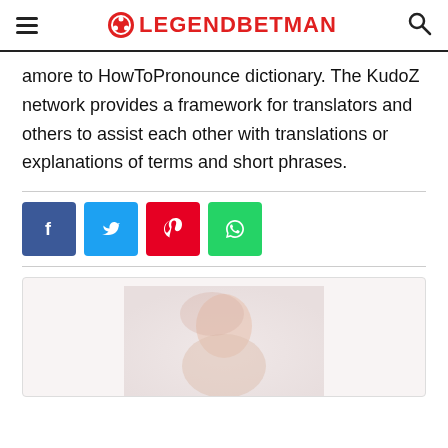LEGENDBETMAN
amore to HowToPronounce dictionary. The KudoZ network provides a framework for translators and others to assist each other with translations or explanations of terms and short phrases.
[Figure (other): Social sharing buttons: Facebook (blue), Twitter (cyan), Pinterest (red), WhatsApp (green)]
[Figure (photo): Partially visible photo of a person, cropped at bottom of page]